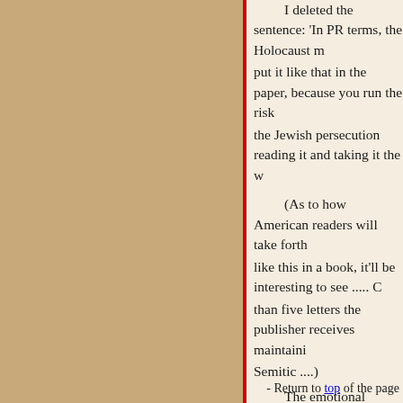I deleted the sentence: 'In PR terms, the Holocaust must put it like that in the paper, because you run the risk of the Jewish persecution reading it and taking it the w...
(As to how American readers will take forth like this in a book, it'll be interesting to see ..... C than five letters the publisher receives maintaini Semitic ....)
The emotional reactions are hard to put asid similarly critical of some of the media-friendly c Palestinians, though he notes that on the whole t the media to further their ends or even just prese Like Us also shows that the failures of the media
The personal anecdotes and experiences are Luyendijk's points, but People Like Us remains criticism aimed far and wide, while it also tries t world). In the end, it doesn't feel quite certain w Still, it's a useful and entertaining breezy read -- opener for those with no first-hand knowledge o reminder that thinking critically about news cov read, right down to the book reviews ...) is proba take.
- Return to top of the page